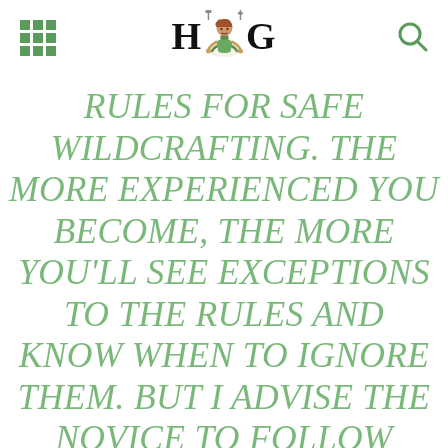HOG (logo with figure)
RULES FOR SAFE WILDCRAFTING. THE MORE EXPERIENCED YOU BECOME, THE MORE YOU'LL SEE EXCEPTIONS TO THE RULES AND KNOW WHEN TO IGNORE THEM. BUT I ADVISE THE NOVICE TO FOLLOW THEM ALL, BECAUSE NOBODY WANTS TO